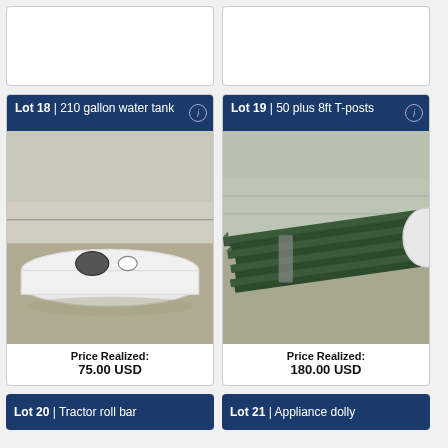[Figure (photo): Partial top of lot card (cropped from top of page)]
[Figure (photo): Partial top of lot card (cropped from top of page)]
Lot 18 | 210 gallon water tank
[Figure (photo): Photo of a white 210 gallon water tank viewed from above, sitting on gravel]
Price Realized: 75.00 USD
Lot 19 | 50 plus 8ft T-posts
[Figure (photo): Photo of a bundle of green metal T-posts lying on gravel]
Price Realized: 180.00 USD
Lot 20 | Tractor roll bar
Lot 21 | Appliance dolly